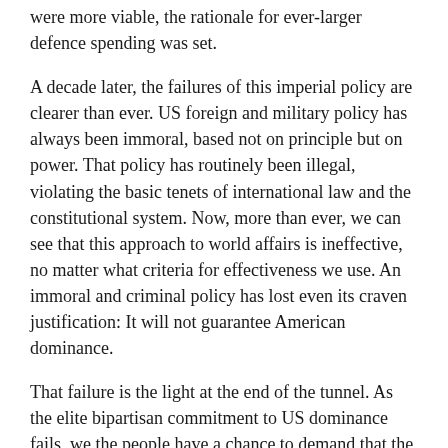were more viable, the rationale for ever-larger defence spending was set.
A decade later, the failures of this imperial policy are clearer than ever. US foreign and military policy has always been immoral, based not on principle but on power. That policy has routinely been illegal, violating the basic tenets of international law and the constitutional system. Now, more than ever, we can see that this approach to world affairs is ineffective, no matter what criteria for effectiveness we use. An immoral and criminal policy has lost even its craven justification: It will not guarantee American dominance.
That failure is the light at the end of the tunnel. As the elite bipartisan commitment to US dominance fails, we the people have a chance to demand that the US shift to policies designed not to allow us to run the world but to help us become part of the world.
Anti-democratic economics